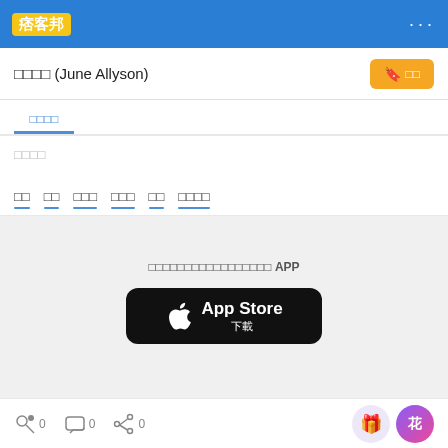痞客邦
□□□□ (June Allyson)
□□□□
□□  □□  □□□  □□□  □□  □□□□
□□□□□□□□□□□□□□□□□ APP
[Figure (logo): App Store download button with Apple logo]
□□ □□□□□□□ □ □□□□ □□□□
0  0  0